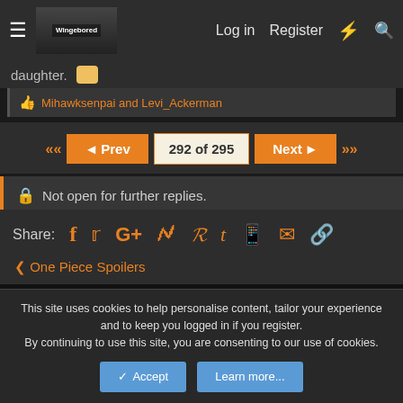≡  [logo image]  Log in  Register  ⚡  🔍
daughter.  [emoji]
👍 Mihawksenpai and Levi_Ackerman
◄◄  ◄Prev  292 of 295  Next►  ►►
🔒 Not open for further replies.
Share:  f  𝕥  G+  reddit  P  t  WhatsApp  ✉  🔗
‹ One Piece Spoilers
✏ Default style
Contact us  Terms and rules  Privacy policy  Help  RSS
This site uses cookies to help personalise content, tailor your experience and to keep you logged in if you register.
By continuing to use this site, you are consenting to our use of cookies.
✓ Accept  Learn more...